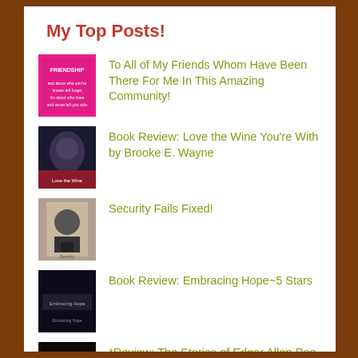My Top Posts!
To All of My Friends Whom Have Been There For Me In This Amazing Community!
Book Review: Love the Wine You're With by Brooke E. Wayne
Security Fails Fixed!
Book Review: Embracing Hope~5 Stars
*Review: The Stories of Edgar Allan Poe adapted by: Stacy King by: Edgar Allan Poe (Manga Classics)~5 stars*